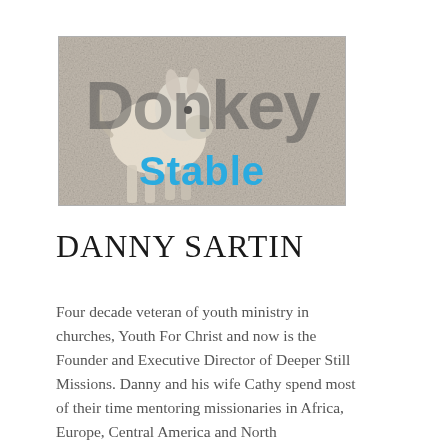[Figure (logo): Donkey Stable logo with a donkey image, large gray 'Donkey' text and blue 'Stable' text on a textured gray background]
DANNY SARTIN
Four decade veteran of youth ministry in churches, Youth For Christ and now is the Founder and Executive Director of Deeper Still Missions. Danny and his wife Cathy spend most of their time mentoring missionaries in Africa, Europe, Central America and North